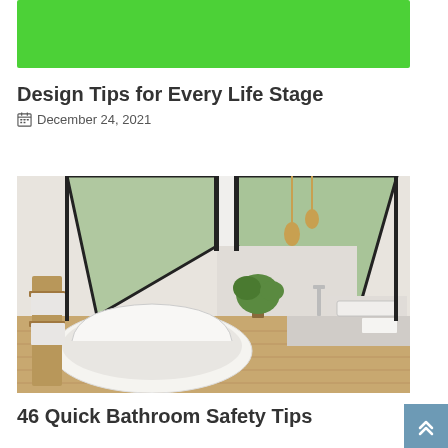[Figure (other): Green banner/header block]
Design Tips for Every Life Stage
December 24, 2021
[Figure (photo): Modern luxury bathroom with a freestanding white bathtub, wood flooring, angled skylights/windows showing greenery outside, pendant lights, and a white countertop sink with wall-mounted faucets.]
46 Quick Bathroom Safety Tips